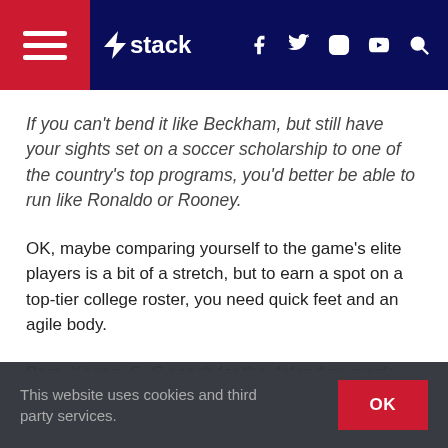stack
If you can’t bend it like Beckham, but still have your sights set on a soccer scholarship to one of the country’s top programs, you’d better be able to run like Ronaldo or Rooney.
OK, maybe comparing yourself to the game’s elite players is a bit of a stretch, but to earn a spot on a top-tier college roster, you need quick feet and an agile body.
Barry Kagan, S+C coach for the defending men’s champion Maryland Terrapins, believes that quickness trumps linear speed when it comes to soccer. “The game of soccer is built around a lot of short, intense bursts
This website uses cookies and third party services.